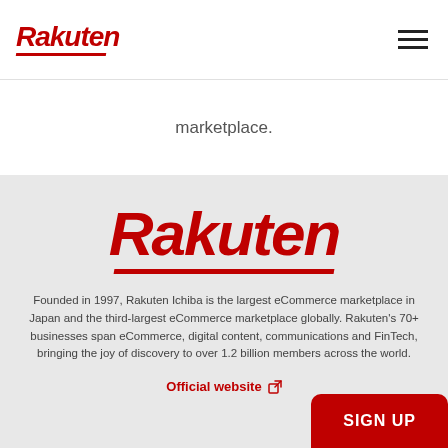[Figure (logo): Rakuten logo in red italic bold text with red underline swoosh, top-left of navigation bar]
[Figure (other): Hamburger menu icon (three horizontal lines) in top-right of navigation bar]
marketplace.
[Figure (logo): Large Rakuten logo in red italic bold text with red underline swoosh, centered in grey section]
Founded in 1997, Rakuten Ichiba is the largest eCommerce marketplace in Japan and the third-largest eCommerce marketplace globally. Rakuten's 70+ businesses span eCommerce, digital content, communications and FinTech, bringing the joy of discovery to over 1.2 billion members across the world.
Official website
SIGN UP